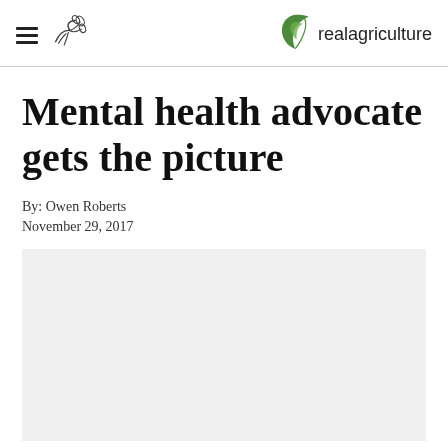realagriculture
Mental health advocate gets the picture
By: Owen Roberts
November 29, 2017
[Figure (photo): Gray placeholder image area below article header]